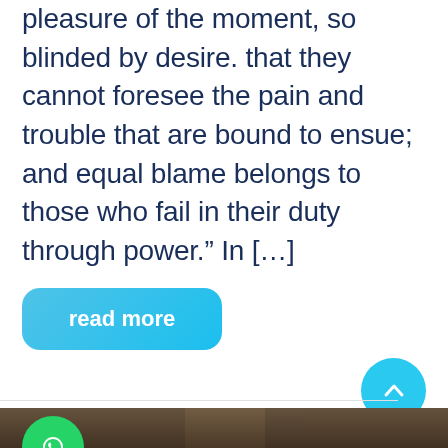pleasure of the moment, so blinded by desire. that they cannot foresee the pain and trouble that are bound to ensue; and equal blame belongs to those who fail in their duty through power.” In […]
[Figure (other): A gradient blue 'read more' button with rounded corners]
[Figure (other): A cyan circular scroll-to-top button with an upward chevron arrow]
[Figure (photo): A blurred photo showing what appears to be a person or figure with bokeh background lighting, partial view at bottom of page]
[Figure (other): A green circular WhatsApp icon button in the bottom left]